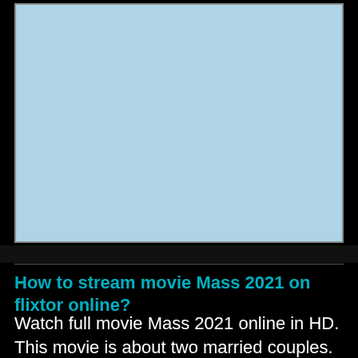[Figure (other): Light blue rectangular image placeholder area with a thin border on a black background]
How to stream movie Mass 2021 on flixtor online?
Watch full movie Mass 2021 online in HD. This movie is about two married couples. One day they meet in a church conference room. It is not known from the